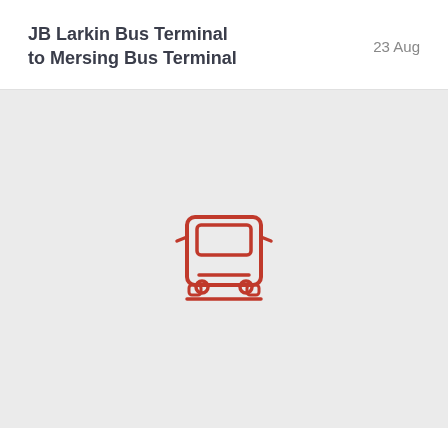JB Larkin Bus Terminal to Mersing Bus Terminal
23 Aug
[Figure (illustration): Red outline icon of a bus (front view) centered on a light grey background]